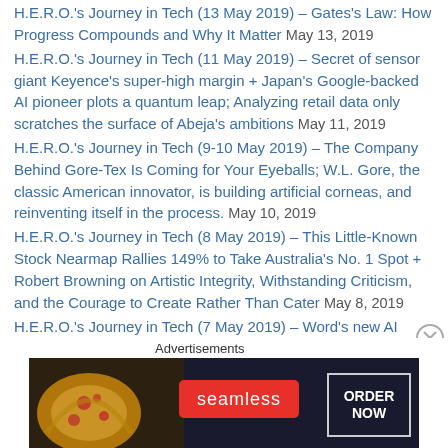H.E.R.O.'s Journey in Tech (13 May 2019) – Gates's Law: How Progress Compounds and Why It Matter May 13, 2019
H.E.R.O.'s Journey in Tech (11 May 2019) – Secret of sensor giant Keyence's super-high margin + Japan's Google-backed AI pioneer plots a quantum leap; Analyzing retail data only scratches the surface of Abeja's ambitions May 11, 2019
H.E.R.O.'s Journey in Tech (9-10 May 2019) – The Company Behind Gore-Tex Is Coming for Your Eyeballs; W.L. Gore, the classic American innovator, is building artificial corneas, and reinventing itself in the process. May 10, 2019
H.E.R.O.'s Journey in Tech (8 May 2019) – This Little-Known Stock Nearmap Rallies 149% to Take Australia's No. 1 Spot + Robert Browning on Artistic Integrity, Withstanding Criticism, and the Courage to Create Rather Than Cater May 8, 2019
H.E.R.O.'s Journey in Tech (7 May 2019) – Word's new AI editor will improve your writing May 7, 2019
Advertisements
[Figure (photo): Seamless food delivery advertisement banner with pizza image on left, Seamless logo in red center, and ORDER NOW button on right, on dark background]